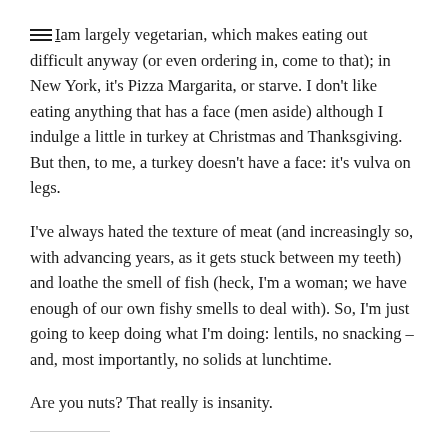I am largely vegetarian, which makes eating out difficult anyway (or even ordering in, come to that); in New York, it's Pizza Margarita, or starve. I don't like eating anything that has a face (men aside) although I indulge a little in turkey at Christmas and Thanksgiving. But then, to me, a turkey doesn't have a face: it's vulva on legs.
I've always hated the texture of meat (and increasingly so, with advancing years, as it gets stuck between my teeth) and loathe the smell of fish (heck, I'm a woman; we have enough of our own fishy smells to deal with). So, I'm just going to keep doing what I'm doing: lentils, no snacking – and, most importantly, no solids at lunchtime.
Are you nuts? That really is insanity.